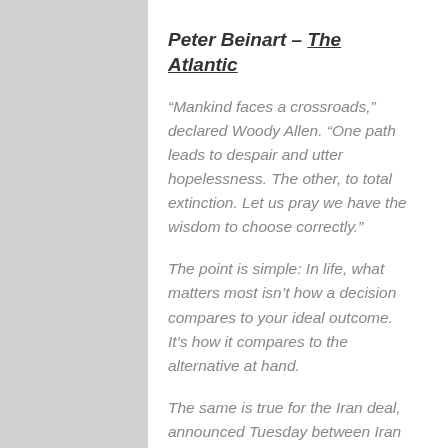Peter Beinart – The Atlantic
“Mankind faces a crossroads,” declared Woody Allen. “One path leads to despair and utter hopelessness. The other, to total extinction. Let us pray we have the wisdom to choose correctly.”
The point is simple: In life, what matters most isn’t how a decision compares to your ideal outcome. It’s how it compares to the alternative at hand.
The same is true for the Iran deal, announced Tuesday between Iran and six world powers. As Congress begins debating the agreement, its opponents have three real alternatives.